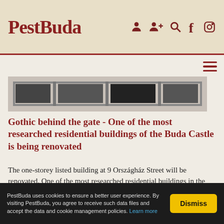PestBuda
[Figure (photo): Black and white architectural photograph showing the facade of a building, likely the residential building at 9 Országház Street in Buda Castle District.]
Gothic behind the gate - One of the most researched residential buildings of the Buda Castle is being renovated
The one-storey listed building at 9 Országház Street will be renovated. One of the most researched residential buildings in the Buda Castle District was built in the 15th century, then rebuilt in the Baroque style in the 17th century. It underwent another major transformation in the 19th century. The Gothic
PestBuda uses cookies to ensure a better user experience. By visiting PestBuda, you agree to receive such data files and accept the data and cookie management policies. Learn more